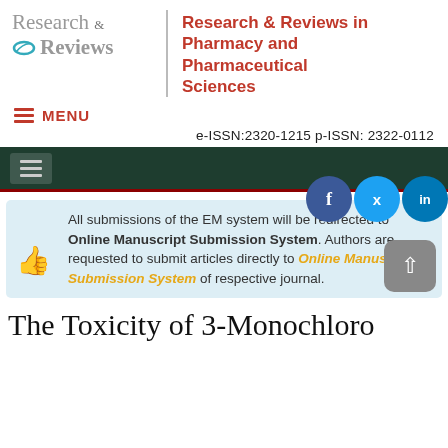[Figure (logo): Research & Reviews journal logo with oval icon]
Research & Reviews in Pharmacy and Pharmaceutical Sciences
MENU
e-ISSN:2320-1215 p-ISSN: 2322-0112
[Figure (infographic): Dark green navigation bar with hamburger menu icon]
[Figure (infographic): Social media icons: Facebook, Twitter, LinkedIn]
All submissions of the EM system will be redirected to Online Manuscript Submission System. Authors are requested to submit articles directly to Online Manuscript Submission System of respective journal.
The Toxicity of 3-Monochloro